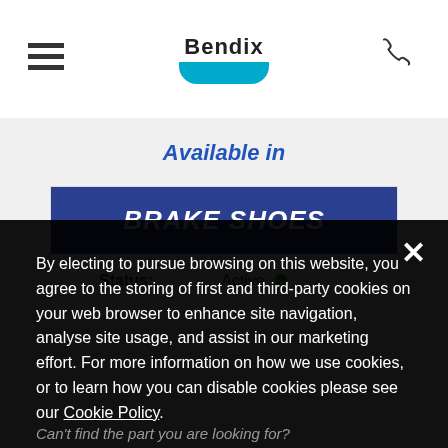Bendix
Available in
BRAKE SHOES
Status: Active
By electing to pursue browsing on this website, you agree to the storing of first and third-party cookies on your web browser to enhance site navigation, analyse site usage, and assist in our marketing effort. For more information on how we use cookies, or to learn how you can disable cookies please see our Cookie Policy.
Can't find the part you are looking for?